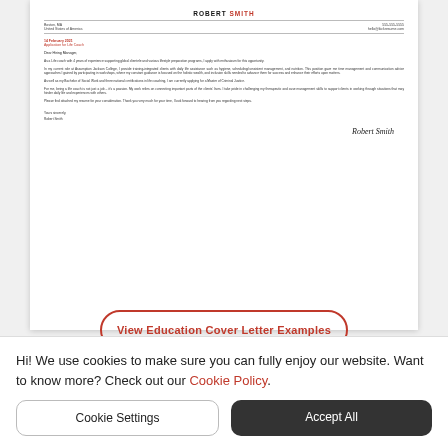[Figure (illustration): Preview thumbnail of a cover letter document for Robert Smith, Life Coach, with contact details, date, salutation, body paragraphs, closing, and a cursive signature.]
View Education Cover Letter Examples
Hi! We use cookies to make sure you can fully enjoy our website. Want to know more? Check out our Cookie Policy.
Cookie Settings
Accept All